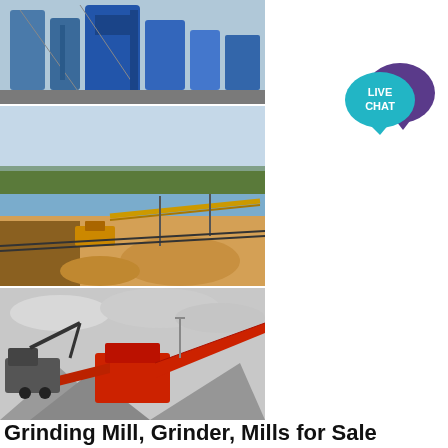[Figure (photo): Industrial grinding mill facility with blue silos and machinery]
[Figure (photo): Open-pit sand and gravel mining site with conveyor belts along a river]
[Figure (photo): Mobile crushing and screening plant with excavator and gravel piles]
[Figure (infographic): Live Chat button icon - teal speech bubble with purple chat bubble overlay, text LIVE CHAT]
Grinding Mill, Grinder, Mills for Sale